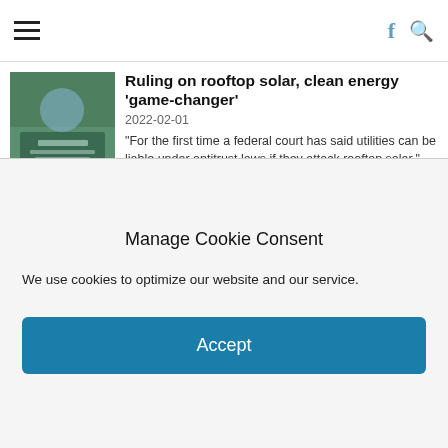Navigation bar with hamburger menu, Facebook icon, and search icon
Ruling on rooftop solar, clean energy 'game-changer'
2022-02-01
"For the first time a federal court has said utilities can be liable under antitrust laws if they attack rooftop solar," said one advocate. "The future for renewable energy just got a lot brighter." by Kenny Stancil, Common Dreams February 1, 2022 [caption id="attachment_54195" align="aligncenter" width="1280"]...
Could direct action stop climate change?
2021-12-21
by Wade Rathke December 20, 2021 Little Rock
Manage Cookie Consent
We use cookies to optimize our website and our service.
Accept